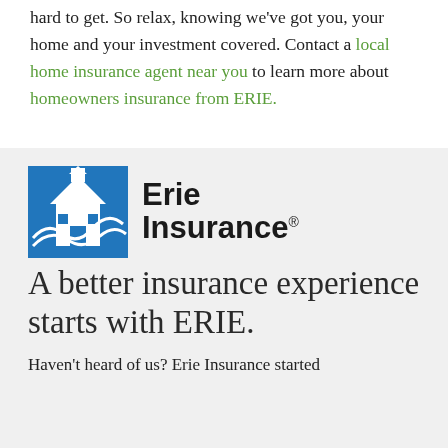hard to get. So relax, knowing we've got you, your home and your investment covered. Contact a local home insurance agent near you to learn more about homeowners insurance from ERIE.
[Figure (logo): Erie Insurance logo: blue building/house icon on left, 'Erie Insurance' bold text on right with registered trademark symbol]
A better insurance experience starts with ERIE.
Haven't heard of us? Erie Insurance started